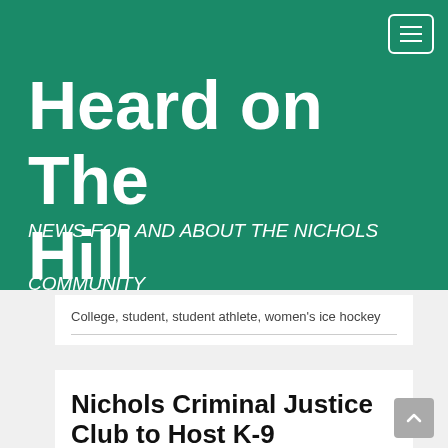Heard on The Hill
NEWS FOR AND ABOUT THE NICHOLS COMMUNITY
College, student, student athlete, women's ice hockey
Nichols Criminal Justice Club to Host K-9